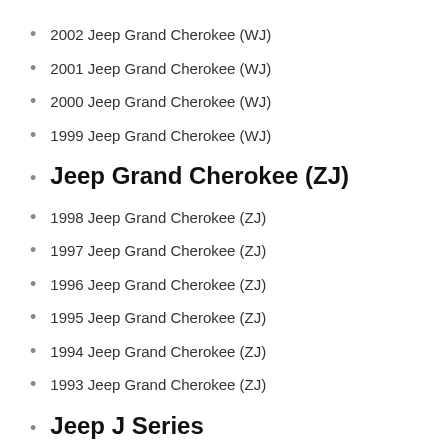2002 Jeep Grand Cherokee (WJ)
2001 Jeep Grand Cherokee (WJ)
2000 Jeep Grand Cherokee (WJ)
1999 Jeep Grand Cherokee (WJ)
Jeep Grand Cherokee (ZJ)
1998 Jeep Grand Cherokee (ZJ)
1997 Jeep Grand Cherokee (ZJ)
1996 Jeep Grand Cherokee (ZJ)
1995 Jeep Grand Cherokee (ZJ)
1994 Jeep Grand Cherokee (ZJ)
1993 Jeep Grand Cherokee (ZJ)
Jeep J Series
1989 Jeep J Series